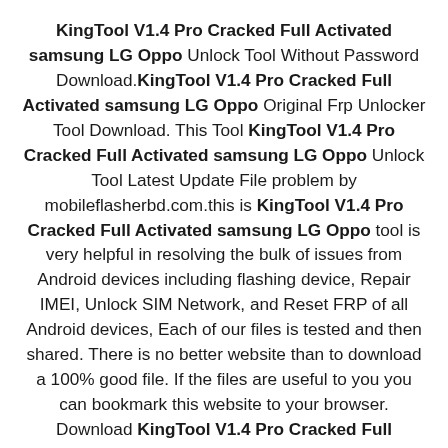KingTool V1.4 Pro Cracked Full Activated samsung LG Oppo Unlock Tool Without Password Download.KingTool V1.4 Pro Cracked Full Activated samsung LG Oppo Original Frp Unlocker Tool Download. This Tool KingTool V1.4 Pro Cracked Full Activated samsung LG Oppo Unlock Tool Latest Update File problem by mobileflasherbd.com.this is KingTool V1.4 Pro Cracked Full Activated samsung LG Oppo tool is very helpful in resolving the bulk of issues from Android devices including flashing device, Repair IMEI, Unlock SIM Network, and Reset FRP of all Android devices, Each of our files is tested and then shared. There is no better website than to download a 100% good file. If the files are useful to you you can bookmark this website to your browser. Download KingTool V1.4 Pro Cracked Full Activated samsung LG Oppo Latest Trusted Unlock Tool by Jonaki Telecom. KingTool V1.4 Pro Cracked Full Activated